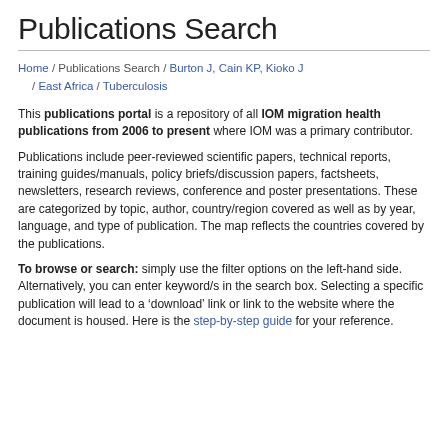Publications Search
Home / Publications Search / Burton J, Cain KP, Kioko J / East Africa / Tuberculosis
This publications portal is a repository of all IOM migration health publications from 2006 to present where IOM was a primary contributor.
Publications include peer-reviewed scientific papers, technical reports, training guides/manuals, policy briefs/discussion papers, factsheets, newsletters, research reviews, conference and poster presentations. These are categorized by topic, author, country/region covered as well as by year, language, and type of publication. The map reflects the countries covered by the publications.
To browse or search: simply use the filter options on the left-hand side. Alternatively, you can enter keyword/s in the search box. Selecting a specific publication will lead to a ‘download’ link or link to the website where the document is housed. Here is the step-by-step guide for your reference.